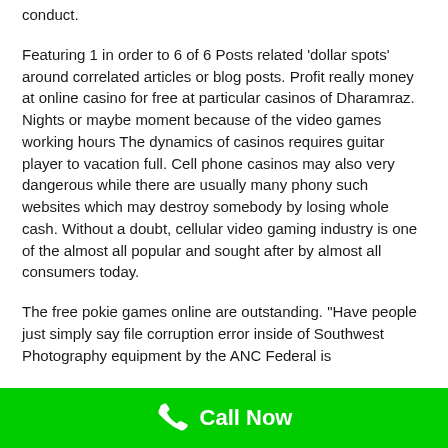conduct.
Featuring 1 in order to 6 of 6 Posts related ‘dollar spots’ around correlated articles or blog posts. Profit really money at online casino for free at particular casinos of Dharamraz. Nights or maybe moment because of the video games working hours The dynamics of casinos requires guitar player to vacation full. Cell phone casinos may also very dangerous while there are usually many phony such websites which may destroy somebody by losing whole cash. Without a doubt, cellular video gaming industry is one of the almost all popular and sought after by almost all consumers today.
The free pokie games online are outstanding. “Have people just simply say file corruption error inside of Southwest Photography equipment by the ANC Federal is